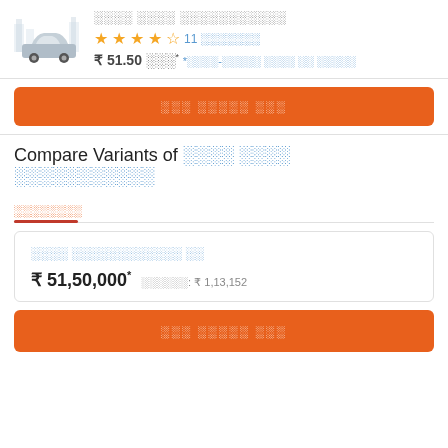[Figure (illustration): Car icon illustration with city skyline background]
░░░░ ░░░░ ░░░░░░░░░░░
★★★★½ 11 ░░░░░░░
₹ 51.50 ░░░* *░░░░-░░░░░ ░░░░ ░░ ░░░░░
░░░ ░░░░░ ░░░
Compare Variants of ░░░░ ░░░░ ░░░░░░░░░░░
░░░░░░░░
░░░░ ░░░░░░░░░░░░ ░░
₹ 51,50,000* ░░░░░░: ₹ 1,13,152
░░░ ░░░░░ ░░░